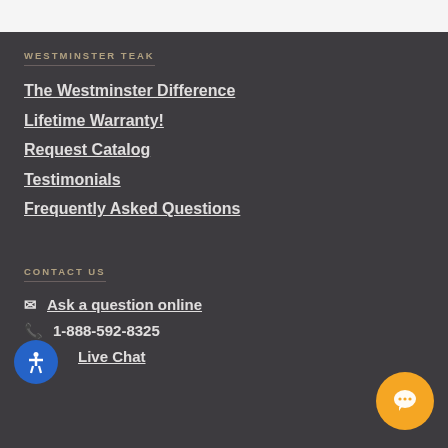WESTMINSTER TEAK
The Westminster Difference
Lifetime Warranty!
Request Catalog
Testimonials
Frequently Asked Questions
CONTACT US
✉ Ask a question online
📞 1-888-592-8325
Live Chat